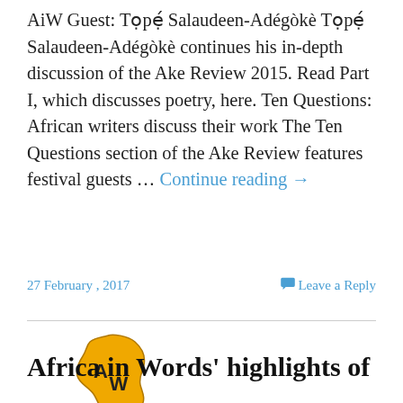AiW Guest: Tọpẹ́ Salaudeen-Adégòkè Tọpẹ́ Salaudeen-Adégòkè continues his in-depth discussion of the Ake Review 2015. Read Part I, which discusses poetry, here. Ten Questions: African writers discuss their work The Ten Questions section of the Ake Review features festival guests … Continue reading →
27 February , 2017
Leave a Reply
[Figure (logo): Africa in Words logo: Africa continent shape in gold/yellow with 'AW' letters, below text 'AFRICA in WORDS' with WORDS on a black badge]
Africa in Words' highlights of